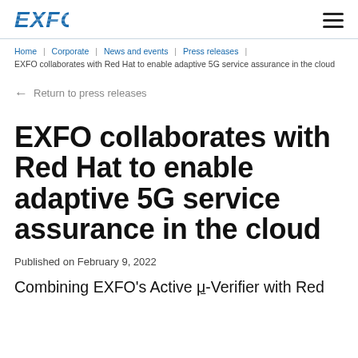EXFO
Home | Corporate | News and events | Press releases | EXFO collaborates with Red Hat to enable adaptive 5G service assurance in the cloud
← Return to press releases
EXFO collaborates with Red Hat to enable adaptive 5G service assurance in the cloud
Published on February 9, 2022
Combining EXFO's Active μ-Verifier with Red